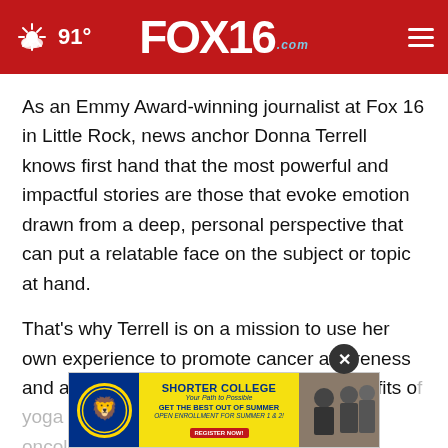FOX16.com — 91°
As an Emmy Award-winning journalist at Fox 16 in Little Rock, news anchor Donna Terrell knows first hand that the most powerful and impactful stories are those that evoke emotion drawn from a deep, personal perspective that can put a relatable face on the subject or topic at hand.
That's why Terrell is on a mission to use her own experience to promote cancer awareness and advocate on behalf of the health benefits of yoga for oncology patients — including her own daughter
[Figure (screenshot): Shorter College advertisement banner with yellow background, college logo, and students photo. Text reads: SHORTER COLLEGE, Your Path to Possible, GET THE BEST OUT OF SUMMER, Open Enrollment for Summer 1 & 2!, REGISTER NOW!]